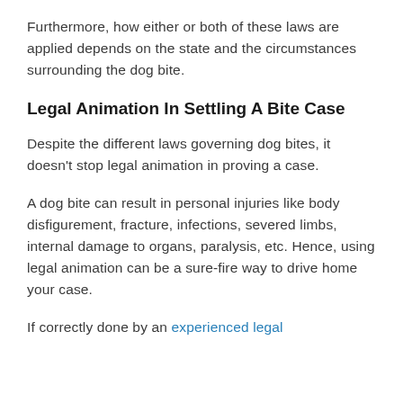Furthermore, how either or both of these laws are applied depends on the state and the circumstances surrounding the dog bite.
Legal Animation In Settling A Bite Case
Despite the different laws governing dog bites, it doesn't stop legal animation in proving a case.
A dog bite can result in personal injuries like body disfigurement, fracture, infections, severed limbs, internal damage to organs, paralysis, etc. Hence, using legal animation can be a sure-fire way to drive home your case.
If correctly done by an experienced legal